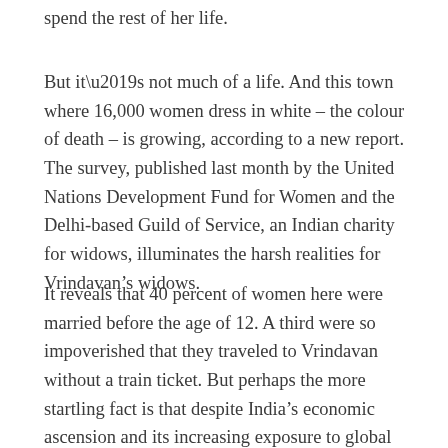spend the rest of her life.
But it’s not much of a life. And this town where 16,000 women dress in white – the colour of death – is growing, according to a new report. The survey, published last month by the United Nations Development Fund for Women and the Delhi-based Guild of Service, an Indian charity for widows, illuminates the harsh realities for Vrindavan’s widows.
It reveals that 40 percent of women here were married before the age of 12. A third were so impoverished that they traveled to Vrindavan without a train ticket. But perhaps the more startling fact is that despite India’s economic ascension and its increasing exposure to global cultural forces, the report offers anecdotal evidence that the number of widows flocking to the town